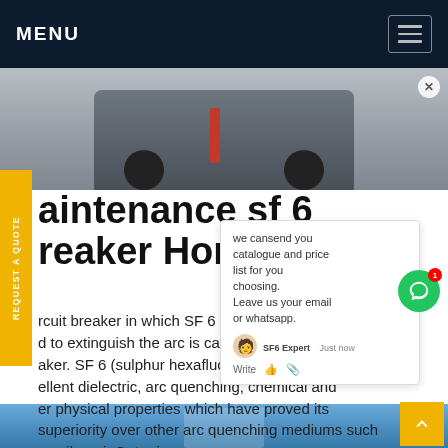MENU
[Figure (photo): Photo of a grey industrial vehicle/cart with large black wheels and a red handle, shown from behind on a light grey floor surface.]
maintenance sf 6 circuit breaker Hong Kong
A circuit breaker in which SF 6 used to extinguish the arc is called SF6 breaker. SF 6 (sulphur hexafluoride) gas has excellent dielectric, arc quenching, chemical and other physical properties which have proved its superiority over other arc quenching mediums such as oil or air.Get price
[Figure (screenshot): Chat popup overlay showing message: 'we can send you catalogue and price list for you choosing. Leave us your email or whatsapp.' with agent avatar labeled SF6 Expert, timestamp 'just now', and Write/send/attachment UI elements. A green circle chat button with notification badge showing 1 is visible to the right.]
[Figure (photo): Bottom strip showing blue sky with industrial structures visible at the bottom of the page.]